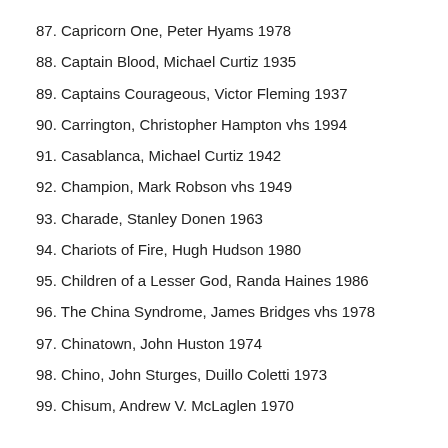87. Capricorn One, Peter Hyams 1978
88. Captain Blood, Michael Curtiz 1935
89. Captains Courageous, Victor Fleming 1937
90. Carrington, Christopher Hampton vhs 1994
91. Casablanca, Michael Curtiz 1942
92. Champion, Mark Robson vhs 1949
93. Charade, Stanley Donen 1963
94. Chariots of Fire, Hugh Hudson 1980
95. Children of a Lesser God, Randa Haines 1986
96. The China Syndrome, James Bridges vhs 1978
97. Chinatown, John Huston 1974
98. Chino, John Sturges, Duillo Coletti 1973
99. Chisum, Andrew V. McLaglen 1970